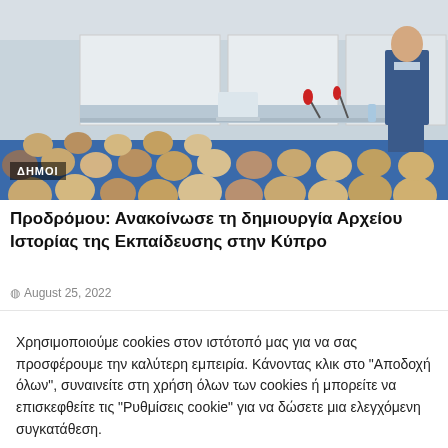[Figure (photo): Lecture or conference hall scene: audience seated in foreground, speaker/presenter standing at podium in background, blue chairs, white panels, microphones visible.]
Προδρόμου: Ανακοίνωσε τη δημιουργία Αρχείου Ιστορίας της Εκπαίδευσης στην Κύπρο
August 25, 2022
Χρησιμοποιούμε cookies στον ιστότοπό μας για να σας προσφέρουμε την καλύτερη εμπειρία. Κάνοντας κλικ στο "Αποδοχή όλων", συναινείτε στη χρήση όλων των cookies ή μπορείτε να επισκεφθείτε τις "Ρυθμίσεις cookie" για να δώσετε μια ελεγχόμενη συγκατάθεση.
Ρυθμίσεις
Αποδοχή όλων